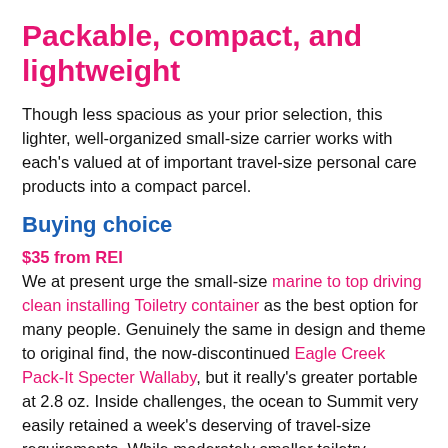Packable, compact, and lightweight
Though less spacious as your prior selection, this lighter, well-organized small-size carrier works with each's valued at of important travel-size personal care products into a compact parcel.
Buying choice
$35 from REI
We at present urge the small-size marine to top driving clean installing Toiletry container as the best option for many people. Genuinely the same in design and theme to original find, the now-discontinued Eagle Creek Pack-It Specter Wallaby, but it really's greater portable at 2.8 oz. Inside challenges, the ocean to Summit very easily retained a week's deserving of travel-size requirements. While moderately smaller toiletry pouches like Osprey's Ultralight Zip coordinator could slightly bear our new day's valuable of goods, this purse well met that guide